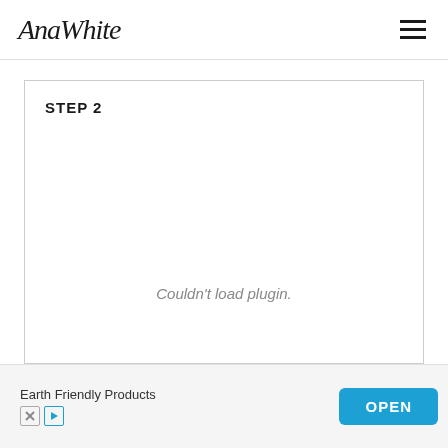AnaWhite
STEP 2
Couldn't load plugin.
Earth Friendly Products  OPEN